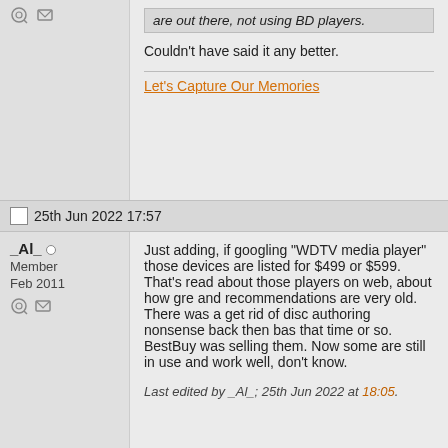Couldn't have said it any better.
Let's Capture Our Memories
25th Jun 2022 17:57
_Al_
Member
Feb 2011
Just adding, if googling "WDTV media player" those devices are listed for $499 or $599. That's read about those players on web, about how gre and recommendations are very old. There was a get rid of disc authoring nonsense back then bas that time or so. BestBuy was selling them. Now some are still in use and work well, don't know.
Last edited by _Al_; 25th Jun 2022 at 18:05.